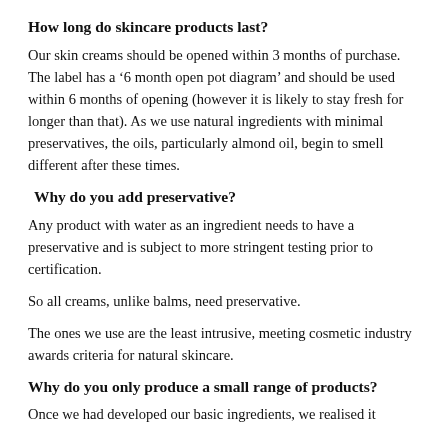How long do skincare products last?
Our skin creams should be opened within 3 months of purchase. The label has a ‘6 month open pot diagram’ and should be used within 6 months of opening (however it is likely to stay fresh for longer than that). As we use natural ingredients with minimal preservatives, the oils, particularly almond oil, begin to smell different after these times.
Why do you add preservative?
Any product with water as an ingredient needs to have a preservative and is subject to more stringent testing prior to certification.
So all creams, unlike balms, need preservative.
The ones we use are the least intrusive, meeting cosmetic industry awards criteria for natural skincare.
Why do you only produce a small range of products?
Once we had developed our basic ingredients, we realised it